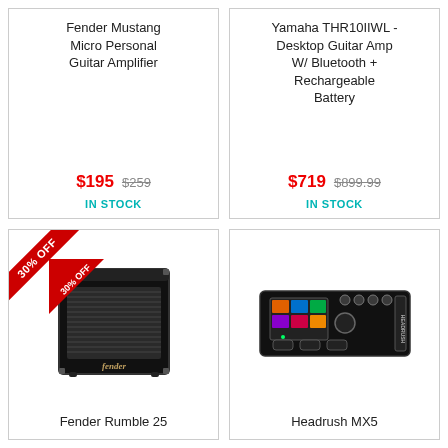Fender Mustang Micro Personal Guitar Amplifier
$195  $259  IN STOCK
Yamaha THR10IIWL - Desktop Guitar Amp W/ Bluetooth + Rechargeable Battery
$719  $899.99  IN STOCK
[Figure (photo): Fender Rumble 25 bass amplifier with 30% OFF ribbon banner]
Fender Rumble 25
[Figure (photo): Headrush MX5 guitar effects processor with touchscreen]
Headrush MX5